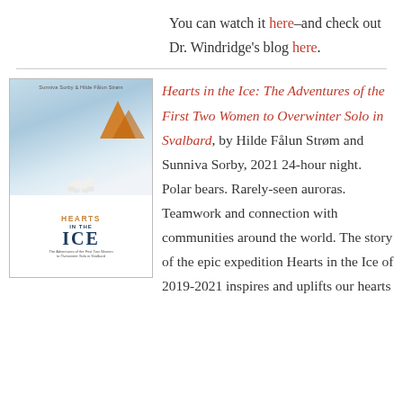You can watch it here–and check out Dr. Windridge's blog here.
[Figure (illustration): Book cover of 'Hearts in the Ice' showing a polar bear on snow/ice with blue sky background, title text in orange and dark blue]
Hearts in the Ice: The Adventures of the First Two Women to Overwinter Solo in Svalbard, by Hilde Fålun Strøm and Sunniva Sorby, 2021 24-hour night. Polar bears. Rarely-seen auroras. Teamwork and connection with communities around the world. The story of the epic expedition Hearts in the Ice of 2019-2021 inspires and uplifts our hearts